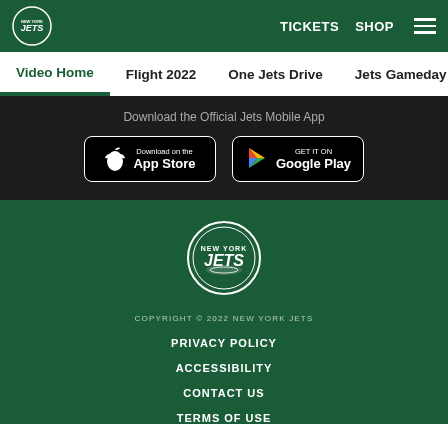JETS | TICKETS | SHOP
Video Home
Flight 2022
One Jets Drive
Jets Gameday with Ro
Download the Official Jets Mobile App
[Figure (logo): Download on the App Store button]
[Figure (logo): Get it on Google Play button]
[Figure (logo): New York Jets circular logo in footer]
COPYRIGHT © 2022 NEW YORK JETS
PRIVACY POLICY
ACCESSIBILITY
CONTACT US
TERMS OF USE